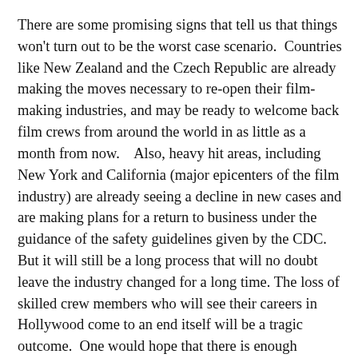There are some promising signs that tell us that things won't turn out to be the worst case scenario.  Countries like New Zealand and the Czech Republic are already making the moves necessary to re-open their film-making industries, and may be ready to welcome back film crews from around the world in as little as a month from now.   Also, heavy hit areas, including New York and California (major epicenters of the film industry) are already seeing a decline in new cases and are making plans for a return to business under the guidance of the safety guidelines given by the CDC.   But it will still be a long process that will no doubt leave the industry changed for a long time.  The loss of skilled crew members who will see their careers in Hollywood come to an end itself will be a tragic outcome.  One would hope that there is enough goodwill extended out to them in order to keep them afloat and able to continue in the film business, but that’s dependent on the needs of the studios in the long run and by how long this shutdown may stretch out.  The ability for Hollywood to prolong their production